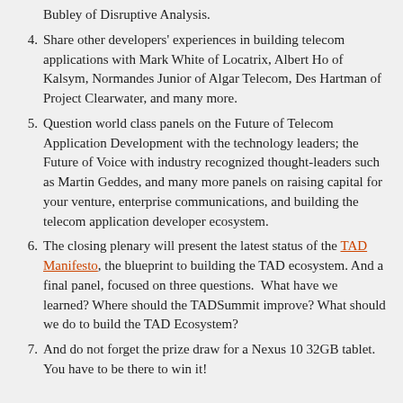Bubley of Disruptive Analysis.
Share other developers' experiences in building telecom applications with Mark White of Locatrix, Albert Ho of Kalsym, Normandes Junior of Algar Telecom, Des Hartman of Project Clearwater, and many more.
Question world class panels on the Future of Telecom Application Development with the technology leaders; the Future of Voice with industry recognized thought-leaders such as Martin Geddes, and many more panels on raising capital for your venture, enterprise communications, and building the telecom application developer ecosystem.
The closing plenary will present the latest status of the TAD Manifesto, the blueprint to building the TAD ecosystem. And a final panel, focused on three questions. What have we learned? Where should the TADSummit improve? What should we do to build the TAD Ecosystem?
And do not forget the prize draw for a Nexus 10 32GB tablet. You have to be there to win it!